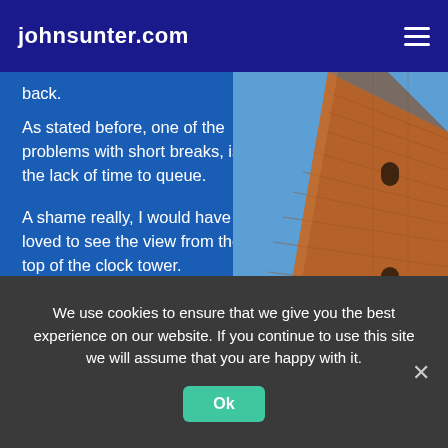johnsunter.com
back.
As stated before, one of the problems with short breaks, is the lack of time to queue.
A shame really, I would have loved to see the view from the top of the clock tower.
Originally built in 1172 as a lighthouse, to aid navigation across the lagoon. It collapsed with
[Figure (photo): Looking up at a tall brick clock tower (campanile) against a blue sky, viewed from below at a steep angle showing the tower tapering toward the top with small arched windows.]
We use cookies to ensure that we give you the best experience on our website. If you continue to use this site we will assume that you are happy with it.